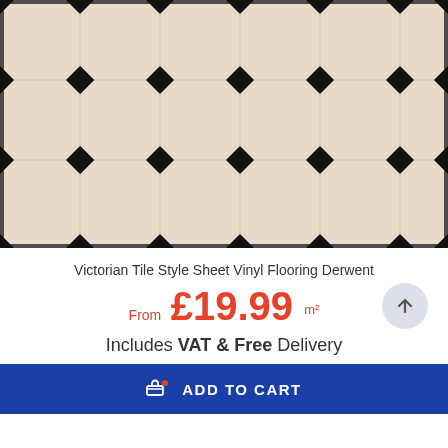[Figure (photo): Victorian tile style sheet vinyl flooring pattern showing geometric star/flower motifs in dark navy, steel blue, and light blue on a cream/beige background, arranged in a repeating grid pattern.]
Victorian Tile Style Sheet Vinyl Flooring Derwent
From £19.99 m²
Includes VAT & Free Delivery
ADD TO CART